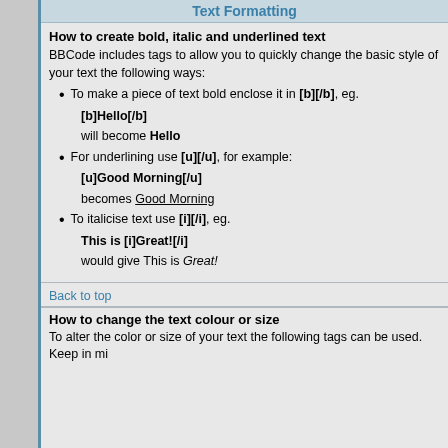Text Formatting
How to create bold, italic and underlined text
BBCode includes tags to allow you to quickly change the basic style of your text the following ways:
To make a piece of text bold enclose it in [b][/b], eg.
[b]Hello[/b]
will become Hello
For underlining use [u][/u], for example:
[u]Good Morning[/u]
becomes Good Morning
To italicise text use [i][/i], eg.
This is [i]Great![/i]
would give This is Great!
Back to top
How to change the text colour or size
To alter the color or size of your text the following tags can be used. Keep in mi